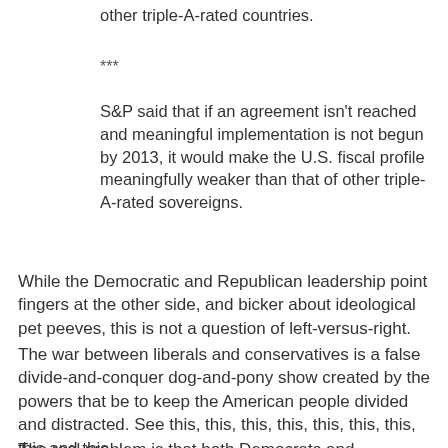other triple-A-rated countries.
***
S&P said that if an agreement isn't reached and meaningful implementation is not begun by 2013, it would make the U.S. fiscal profile meaningfully weaker than that of other triple-A-rated sovereigns.
While the Democratic and Republican leadership point fingers at the other side, and bicker about ideological pet peeves, this is not a question of left-versus-right.
The war between liberals and conservatives is a false divide-and-conquer dog-and-pony show created by the powers that be to keep the American people divided and distracted. See this, this, this, this, this, this, this, this and this.
The real problem is that both Democrats and Republicans want to fund endless wars, give endless bailouts to the too big to fail banks and corporations, and perpetuate the